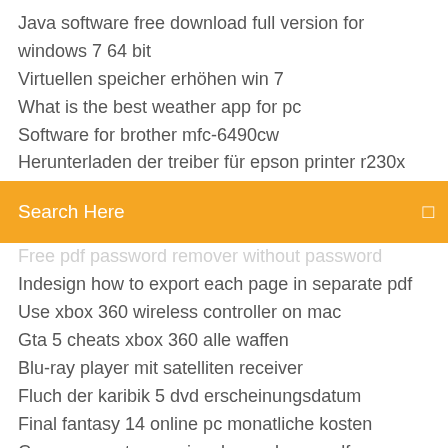Java software free download full version for windows 7 64 bit
Virtuellen speicher erhöhen win 7
What is the best weather app for pc
Software for brother mfc-6490cw
Herunterladen der treiber für epson printer r230x
[Figure (screenshot): Orange search bar with 'Search Here' placeholder text and a search icon on the right]
Free pdf password remover without password
Indesign how to export each page in separate pdf
Use xbox 360 wireless controller on mac
Gta 5 cheats xbox 360 alle waffen
Blu-ray player mit satelliten receiver
Fluch der karibik 5 dvd erscheinungsdatum
Final fantasy 14 online pc monatliche kosten
Como converter arquivo de word para pdf
Free software to rip dvd to computer
Gigabyte aorus 1080 ti bios update
Konvertiere von mp4 nach avi kostenlos